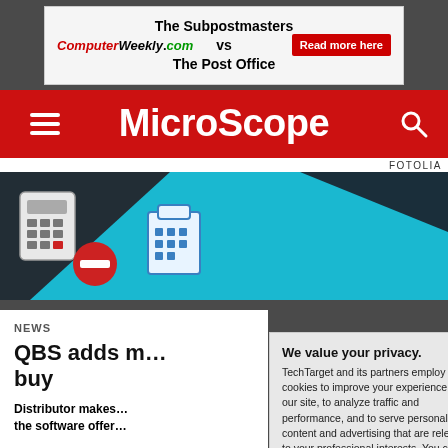[Figure (screenshot): Advertisement banner for ComputerWeekly.com about The Subpostmasters vs The Post Office with Read more here button]
MicroScope
FOTOLIA
[Figure (illustration): Teal and dark blue geometric background with calculator and calendar icons]
NEWS
QBS adds m... buy
Distributor makes... the software offer...
We value your privacy. TechTarget and its partners employ cookies to improve your experience on our site, to analyze traffic and performance, and to serve personalized content and advertising that are relevant to your professional interests. You can manage your settings at any time. Please view our Privacy Policy for more information